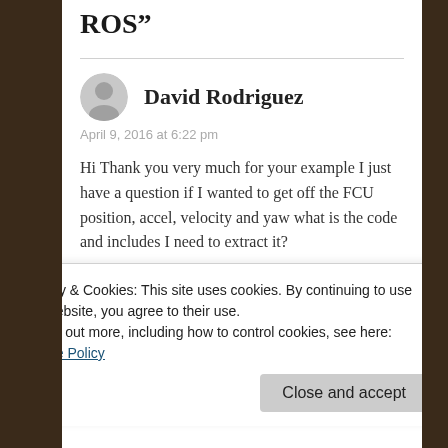ROS"
David Rodriguez
April 9, 2016 at 6:22 pm
Hi Thank you very much for your example I just have a question if I wanted to get off the FCU position, accel, velocity and yaw what is the code and includes I need to extract it?
★ Like
Privacy & Cookies: This site uses cookies. By continuing to use this website, you agree to their use.
To find out more, including how to control cookies, see here: Cookie Policy